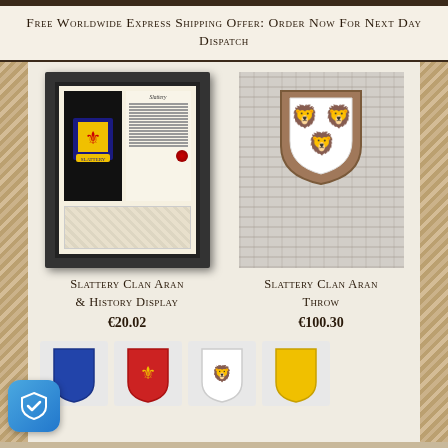Free Worldwide Express Shipping Offer: Order Now For Next Day Dispatch
[Figure (photo): Framed Slattery Clan Aran & History Display showing coat of arms and aran wool textile in a dark frame]
Slattery Clan Aran & History Display
€20.02
[Figure (photo): Slattery Clan Aran Throw - grey aran wool throw with wooden shield plaque bearing red heraldic lions]
Slattery Clan Aran Throw
€100.30
[Figure (photo): Row of heraldic shield badges partially visible at bottom of page]
[Figure (logo): Blue shield trust badge with white checkmark in bottom left corner]